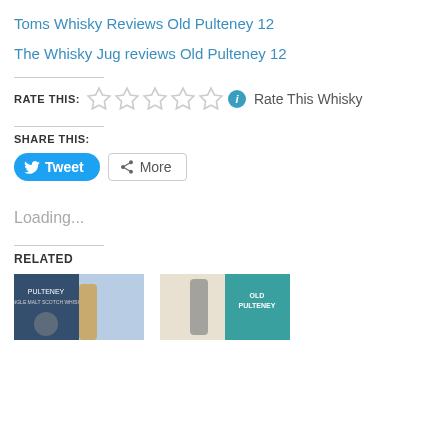Toms Whisky Reviews Old Pulteney 12
The Whisky Jug reviews Old Pulteney 12
RATE THIS: ☆☆☆☆☆ ℹ Rate This Whisky
SHARE THIS:
Tweet  More
Loading...
RELATED
[Figure (photo): Two related product images showing Old Pulteney bottles/packaging at the bottom of the page]